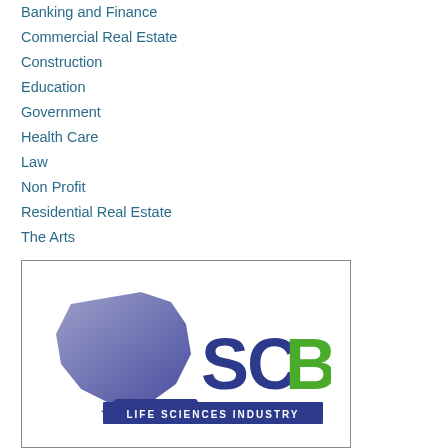Banking and Finance
Commercial Real Estate
Construction
Education
Government
Health Care
Law
Non Profit
Residential Real Estate
The Arts
[Figure (logo): SCBIO Life Sciences Industry logo with South Carolina state shape in purple/blue gradient and SCBIO text in dark blue and green]